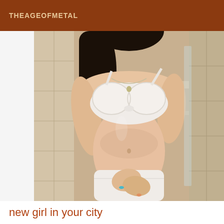THEAGEOFMETAL
[Figure (photo): A young woman posing in white lace lingerie (bra and underwear) in what appears to be a bathroom or tiled interior setting. Her face is not visible; the photo shows her torso and hands.]
new girl in your city